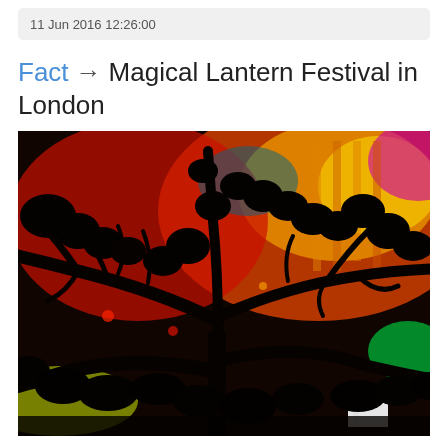11 Jun 2016 12:26:00
Fact → Magical Lantern Festival in London
[Figure (photo): Nighttime photograph of colorful illuminated lanterns or structures visible through dark tree silhouettes at the Magical Lantern Festival in London. Vivid reds, oranges, yellows, greens, and purples glow behind the dark branches.]
...